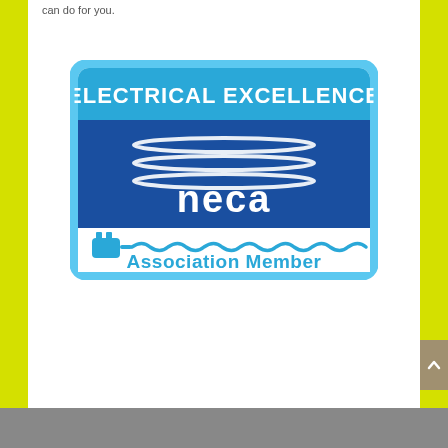can do for you.
[Figure (logo): NECA Electrical Excellence Association Member badge/logo. Blue rectangular badge with light blue border. Top section has cyan text 'ELECTRICAL EXCELLENCE' on a blue background. Middle section shows dark blue background with three horizontal oval/elliptical white lines (representing electrical signal or lightning). Large white lowercase text 'neca' in the center. Bottom section shows a plug icon on the left connected to a wavy line (representing electrical cord/wire) in cyan, and cyan text 'Association Member'.]